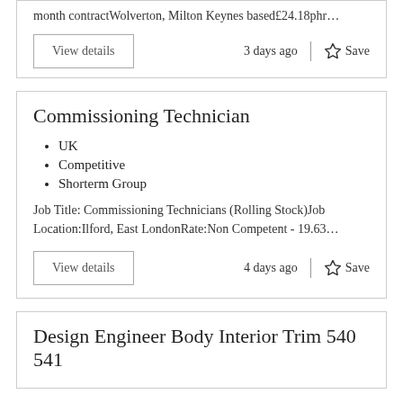month contractWolverton, Milton Keynes based£24.18phr…
3 days ago
Save
Commissioning Technician
UK
Competitive
Shorterm Group
Job Title: Commissioning Technicians (Rolling Stock)Job Location:Ilford, East LondonRate:Non Competent - 19.63…
4 days ago
Save
Design Engineer Body Interior Trim 540 541